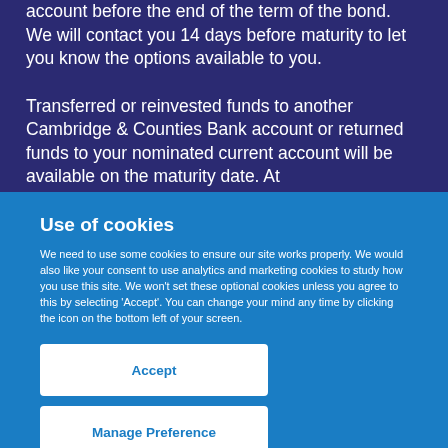account before the end of the term of the bond. We will contact you 14 days before maturity to let you know the options available to you. Transferred or reinvested funds to another Cambridge & Counties Bank account or returned funds to your nominated current account will be available on the maturity date. At
Use of cookies
We need to use some cookies to ensure our site works properly. We would also like your consent to use analytics and marketing cookies to study how you use this site. We won't set these optional cookies unless you agree to this by selecting 'Accept'. You can change your mind any time by clicking the icon on the bottom left of your screen.
Accept
Manage Preference